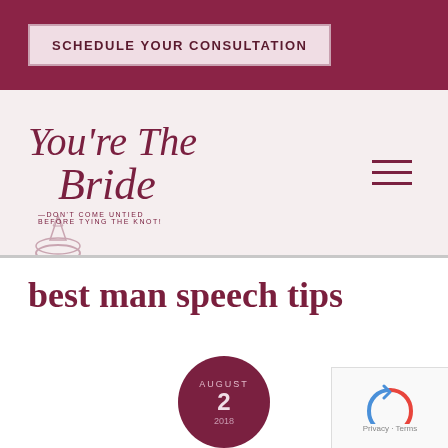SCHEDULE YOUR CONSULTATION
[Figure (logo): You're The Bride — Don't Come Untied Before Tying The Knot! wedding planning logo in cursive maroon script with ring illustration]
best man speech tips
AUGUST 2 2018